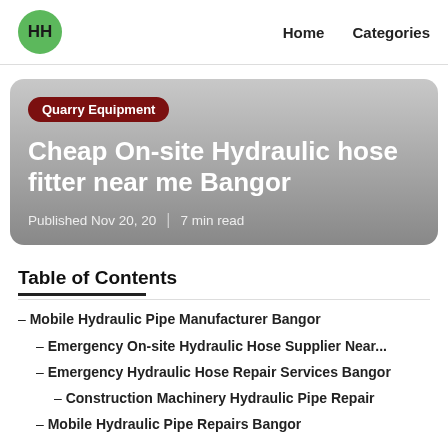HH | Home   Categories
[Figure (screenshot): Hero card with gradient grey background showing category badge 'Quarry Equipment', article title 'Cheap On-site Hydraulic hose fitter near me Bangor', and metadata 'Published Nov 20, 20 | 7 min read']
Table of Contents
– Mobile Hydraulic Pipe Manufacturer Bangor
– Emergency On-site Hydraulic Hose Supplier Near...
– Emergency Hydraulic Hose Repair Services Bangor
– Construction Machinery Hydraulic Pipe Repair
– Mobile Hydraulic Pipe Repairs Bangor